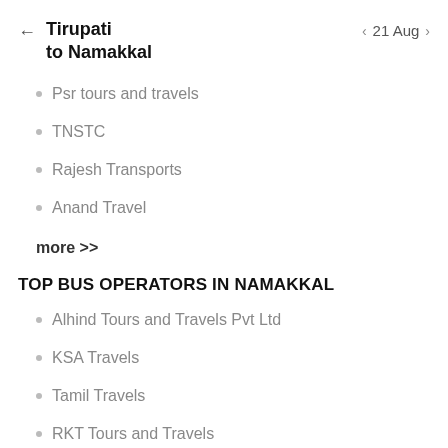Tirupati to Namakkal   21 Aug
Psr tours and travels
TNSTC
Rajesh Transports
Anand Travel
more >>
TOP BUS OPERATORS IN NAMAKKAL
Alhind Tours and Travels Pvt Ltd
KSA Travels
Tamil Travels
RKT Tours and Travels
Sri Renugambal Travels
SRS Travels